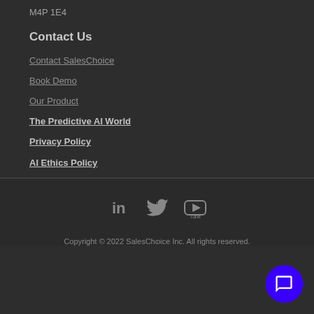M4P 1E4
Contact Us
Contact SalesChoice
Book Demo
Our Product
The Predictive AI World
Privacy Policy
AI Ethics Policy
[Figure (infographic): Social media icons: LinkedIn, Twitter, YouTube]
Copyright © 2022 SalesChoice Inc. All rights reserved.